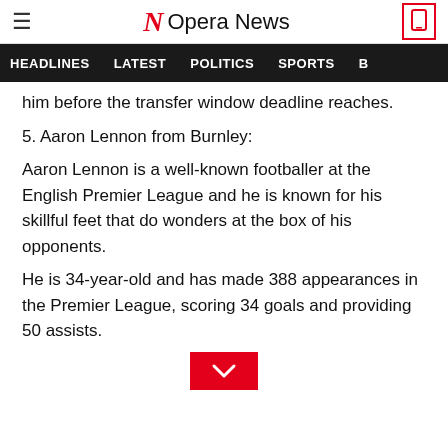Opera News
HEADLINES   LATEST   POLITICS   SPORTS
him before the transfer window deadline reaches.
5. Aaron Lennon from Burnley:
Aaron Lennon is a well-known footballer at the English Premier League and he is known for his skillful feet that do wonders at the box of his opponents.
He is 34-year-old and has made 388 appearances in the Premier League, scoring 34 goals and providing 50 assists.
[Figure (other): Red scroll-down chevron button]